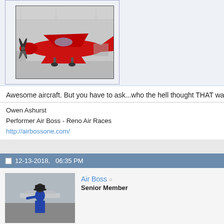[Figure (photo): Red aircraft/plane in a hangar]
Awesome aircraft. But you have to ask...who the hell thought THAT was a
Owen Ashurst
Performer Air Boss - Reno Air Races
http://airbossone.com/
12-13-2018,   06:35 PM
[Figure (photo): Avatar photo of Air Boss user]
Air Boss
Senior Member
Re: Random Shot Of The The Day